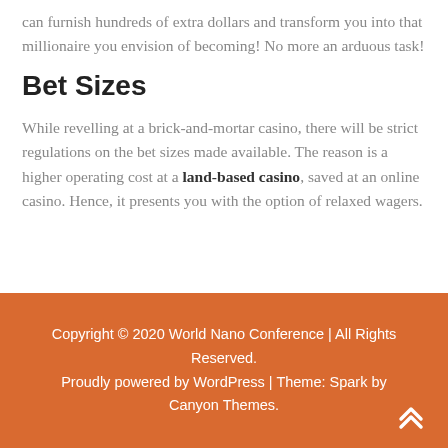can furnish hundreds of extra dollars and transform you into that millionaire you envision of becoming! No more an arduous task!
Bet Sizes
While revelling at a brick-and-mortar casino, there will be strict regulations on the bet sizes made available. The reason is a higher operating cost at a land-based casino, saved at an online casino. Hence, it presents you with the option of relaxed wagers.
Copyright © 2020 World Nano Conference | All Rights Reserved. Proudly powered by WordPress | Theme: Spark by Canyon Themes.